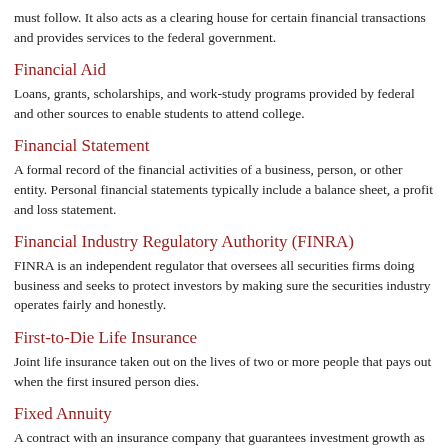must follow. It also acts as a clearing house for certain financial transactions and provides services to the federal government.
Financial Aid
Loans, grants, scholarships, and work-study programs provided by federal and other sources to enable students to attend college.
Financial Statement
A formal record of the financial activities of a business, person, or other entity. Personal financial statements typically include a balance sheet, a profit and loss statement.
Financial Industry Regulatory Authority (FINRA)
FINRA is an independent regulator that oversees all securities firms doing business and seeks to protect investors by making sure the securities industry operates fairly and honestly.
First-to-Die Life Insurance
Joint life insurance taken out on the lives of two or more people that pays out when the first insured person dies.
Fixed Annuity
A contract with an insurance company that guarantees investment growth as well as current or future payments in exchange for a premium or series of premiums.